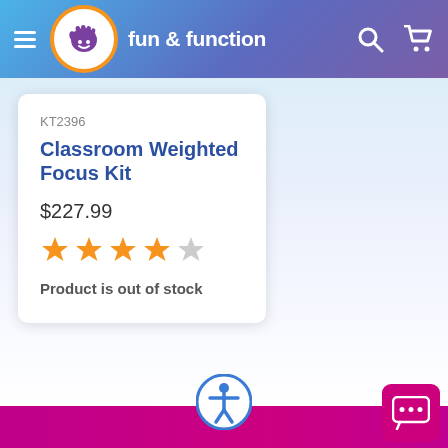fun & function — navigation header with logo, hamburger menu, search and cart icons
KT2396
Classroom Weighted Focus Kit
$227.99
[Figure (other): 4 out of 5 orange stars rating]
Product is out of stock
Footer bar with accessibility icon and chat widget